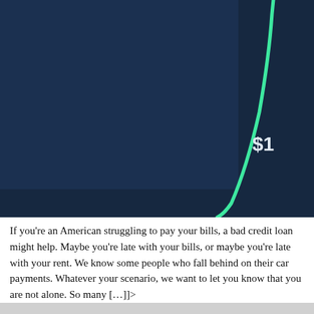[Figure (other): Partial view of a financial dashboard or infographic showing a dark navy blue background with a large green arc/curve in the upper right area, and a darker panel on the right side containing a partially visible dollar amount starting with '$1']
If you're an American struggling to pay your bills, a bad credit loan might help. Maybe you're late with your bills, or maybe you're late with your rent. We know some people who fall behind on their car payments. Whatever your scenario, we want to let you know that you are not alone. So many […]]>